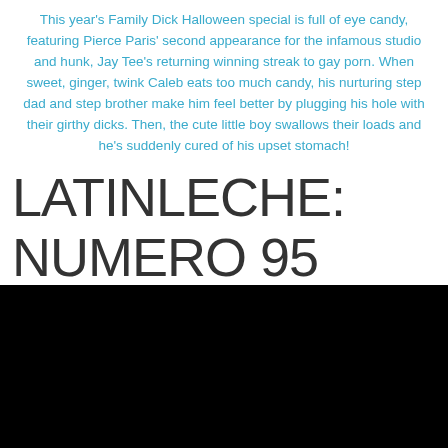This year's Family Dick Halloween special is full of eye candy, featuring Pierce Paris' second appearance for the infamous studio and hunk, Jay Tee's returning winning streak to gay porn. When sweet, ginger, twink Caleb eats too much candy, his nurturing step dad and step brother make him feel better by plugging his hole with their girthy dicks. Then, the cute little boy swallows their loads and he's suddenly cured of his upset stomach!
LATINLECHE: NUMERO 95
[Figure (photo): A dark/black image panel at the bottom of the page]